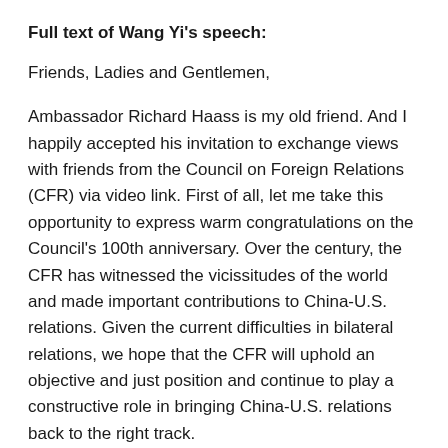Full text of Wang Yi's speech:
Friends, Ladies and Gentlemen,
Ambassador Richard Haass is my old friend. And I happily accepted his invitation to exchange views with friends from the Council on Foreign Relations (CFR) via video link. First of all, let me take this opportunity to express warm congratulations on the Council's 100th anniversary. Over the century, the CFR has witnessed the vicissitudes of the world and made important contributions to China-U.S. relations. Given the current difficulties in bilateral relations, we hope that the CFR will uphold an objective and just position and continue to play a constructive role in bringing China-U.S. relations back to the right track.
Friends,